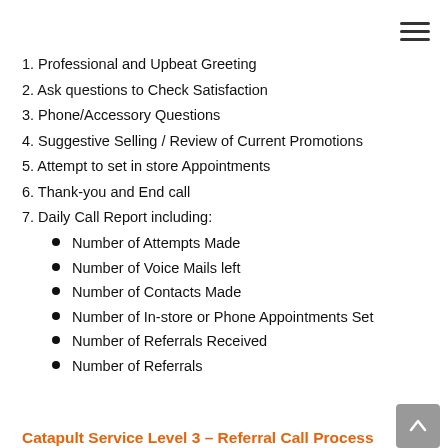1. Professional and Upbeat Greeting
2. Ask questions to Check Satisfaction
3. Phone/Accessory Questions
4. Suggestive Selling / Review of Current Promotions
5. Attempt to set in store Appointments
6. Thank-you and End call
7. Daily Call Report including:
Number of Attempts Made
Number of Voice Mails left
Number of Contacts Made
Number of In-store or Phone Appointments Set
Number of Referrals Received
Number of Referrals
Catapult Service Level 3 – Referral Call Process